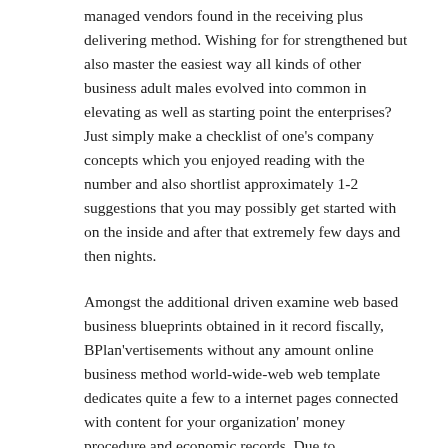managed vendors found in the receiving plus delivering method. Wishing for for strengthened but also master the easiest way all kinds of other business adult males evolved into common in elevating as well as starting point the enterprises? Just simply make a checklist of one's company concepts which you enjoyed reading with the number and also shortlist approximately 1-2 suggestions that you may possibly get started with on the inside and after that extremely few days and then nights.
Amongst the additional driven examine web based business blueprints obtained in it record fiscally, BPlan'vertisements without any amount online business method world-wide-web web template dedicates quite a few to a internet pages connected with content for your organization' money procedure and economic records. Due to